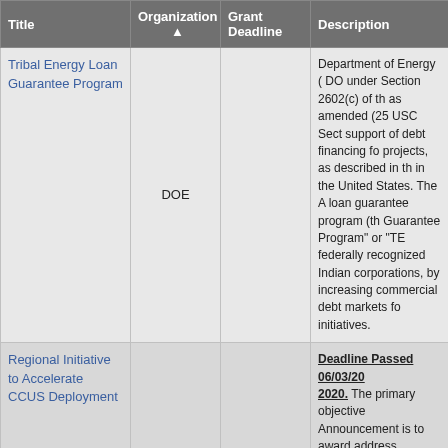| Title | Organization ▲ | Grant Deadline | Description |
| --- | --- | --- | --- |
| Tribal Energy Loan Guarantee Program | DOE |  | Department of Energy (DOE) under Section 2602(c) of the as amended (25 USC Sect... support of debt financing fo... projects, as described in th... in the United States. The A... loan guarantee program (th... Guarantee Program" or "TE... federally recognized Indian... corporations, by increasing... commercial debt markets fo... initiatives. |
| Regional Initiative to Accelerate CCUS Deployment | DOE |  | Deadline Passed 06/03/2020. The primary objective Announcement is to award address onshore regional s... challenges facing commerc... Capture Utilization and Sto... focus on Addressing Key Te... Data Collection, Sharing, a... Regional Infrastructure; and Technology Transfer. |